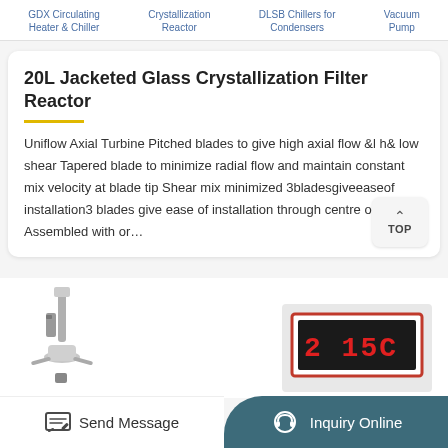GDX Circulating Heater & Chiller | Crystallization Reactor | DLSB Chillers for Condensers | Vacuum Pump
20L Jacketed Glass Crystallization Filter Reactor
Uniflow Axial Turbine Pitched blades to give high axial flow &l h& low shear Tapered blade to minimize radial flow and maintain constant mix velocity at blade tip Shear mix minimized 3bladesgiveeaseof installation3 blades give ease of installation through centre opening Assembled with or…
[Figure (photo): Metal stirrer/agitator shaft product image on white background]
[Figure (photo): Temperature controller display showing '2 15C' on a white/grey panel with red digital display]
Send Message | Inquiry Online